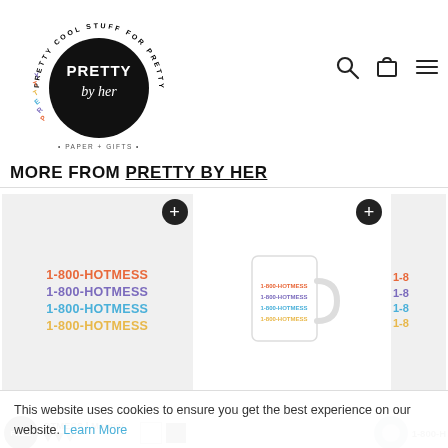[Figure (logo): Pretty by Her logo — circular black badge with 'PRETTY by her' text, surrounded by colorful circular text 'PRETTY COOL STUFF FOR PRETTY COOL PEOPLE', with '• PAPER + GIFTS •' and 'FEMALE FOUNDED' beneath]
[Figure (infographic): Navigation icons: search (magnifying glass), cart (bag), and hamburger menu]
MORE FROM PRETTY BY HER
[Figure (photo): Product card showing '1-800-HOTMESS' repeated 4 times in orange, purple, blue, yellow stacked text on light gray background with black plus button]
[Figure (photo): Product card showing a white mug with '1-800-HOTMESS' stacked multicolor text, on white background with black plus button]
[Figure (photo): Partially visible third product card with '1-800-HOTMESS' stacked multicolor text on light background]
[Figure (photo): Product thumbnail row showing free badge, product name, color swatches, and partial right product]
This website uses cookies to ensure you get the best experience on our website. Learn More